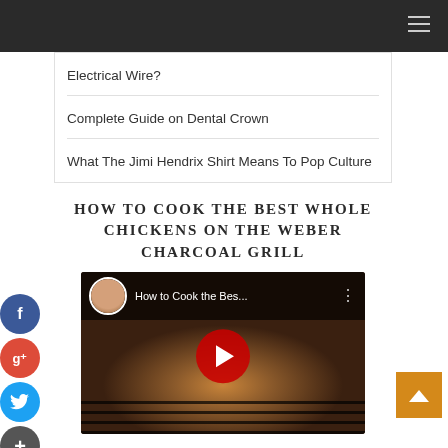Electrical Wire?
Complete Guide on Dental Crown
What The Jimi Hendrix Shirt Means To Pop Culture
HOW TO COOK THE BEST WHOLE CHICKENS ON THE WEBER CHARCOAL GRILL
[Figure (screenshot): YouTube video thumbnail titled 'How to Cook the Bes...' showing grilled chicken on a Weber charcoal grill with a red play button overlay]